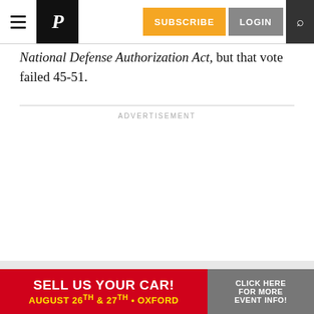P [newspaper logo] | SUBSCRIBE | LOGIN | [search]
National Defense Authorization Act, but that vote failed 45-51.
ADVERTISEMENT
[Figure (other): Advertisement banner: SELL US YOUR CAR! AUGUST 26TH & 27TH • OXFORD | CLICK HERE FOR MORE EVENT INFO!]